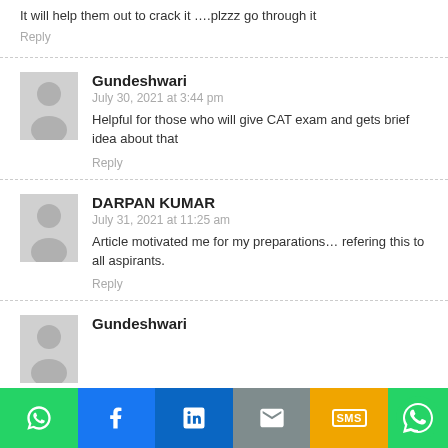It will help them out to crack it ….plzzz go through it
Reply
Gundeshwari
July 30, 2021 at 3:44 pm
Helpful for those who will give CAT exam and gets brief idea about that
Reply
DARPAN KUMAR
July 31, 2021 at 11:25 am
Article motivated me for my preparations… refering this to all aspirants.
Reply
Gundeshwari